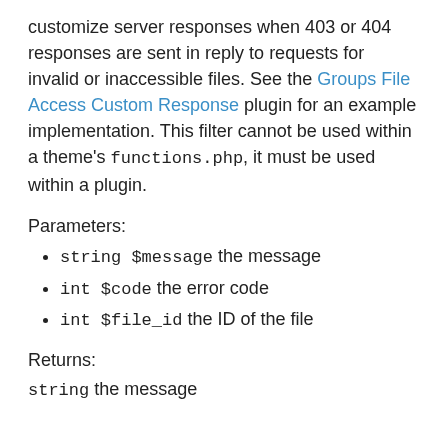customize server responses when 403 or 404 responses are sent in reply to requests for invalid or inaccessible files. See the Groups File Access Custom Response plugin for an example implementation. This filter cannot be used within a theme's functions.php, it must be used within a plugin.
Parameters:
string $message the message
int $code the error code
int $file_id the ID of the file
Returns:
string the message